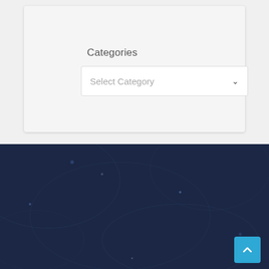Categories
Select Category
Business Listings
Sacramento Mobile Truck Repair
August 21, 2022